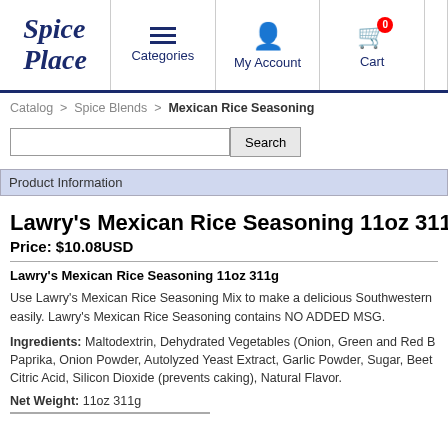Spice Place | Categories | My Account | Cart 0
Catalog > Spice Blends > Mexican Rice Seasoning
Lawry's Mexican Rice Seasoning 11oz 311g
Price: $10.08USD
Product Information
Lawry's Mexican Rice Seasoning 11oz 311g
Use Lawry's Mexican Rice Seasoning Mix to make a delicious Southwestern easily. Lawry's Mexican Rice Seasoning contains NO ADDED MSG.
Ingredients: Maltodextrin, Dehydrated Vegetables (Onion, Green and Red B Paprika, Onion Powder, Autolyzed Yeast Extract, Garlic Powder, Sugar, Beet Citric Acid, Silicon Dioxide (prevents caking), Natural Flavor.
Net Weight: 11oz 311g